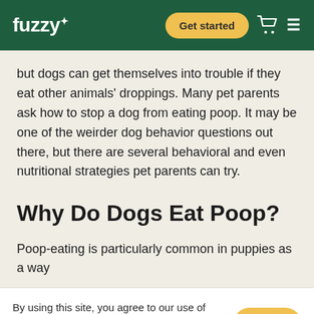fuzzy+ | Get started
but dogs can get themselves into trouble if they eat other animals' droppings. Many pet parents ask how to stop a dog from eating poop. It may be one of the weirder dog behavior questions out there, but there are several behavioral and even nutritional strategies pet parents can try.
Why Do Dogs Eat Poop?
Poop-eating is particularly common in puppies as a way
By using this site, you agree to our use of cookies for personalized content, according to our Privacy Policy